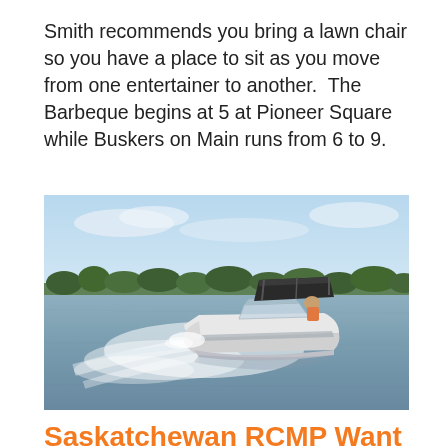Smith recommends you bring a lawn chair so you have a place to sit as you move from one entertainer to another.  The Barbeque begins at 5 at Pioneer Square while Buskers on Main runs from 6 to 9.
[Figure (photo): A motorboat speeding across a lake with a person visible aboard, creating a white wake. Trees and a partly cloudy sky are visible in the background.]
Saskatchewan RCMP Want You to Have a Safe Weekend